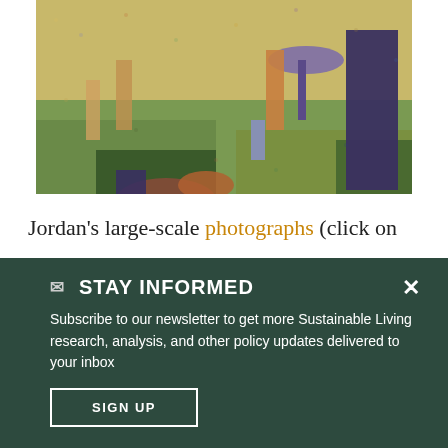[Figure (illustration): Pointillist painting showing people relaxing in a park — detail from Seurat's 'A Sunday on La Grande Jatte', with figures on a grassy area in warm afternoon light.]
Jordan's large-scale photographs (click on
✉ STAY INFORMED ×
Subscribe to our newsletter to get more Sustainable Living research, analysis, and other policy updates delivered to your inbox
SIGN UP